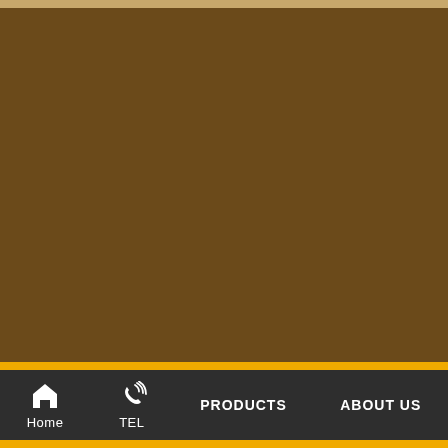[Figure (screenshot): Brown/dark tan background main content area covering most of the page]
Home  TEL  PRODUCTS  ABOUT US